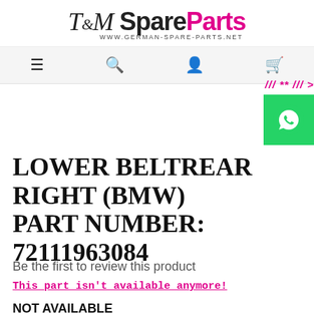[Figure (logo): T&M SpareParts logo with website URL www.german-spare-parts.net]
[Figure (infographic): Navigation bar with menu (hamburger), search, account, and cart icons]
/// ** /// >
[Figure (other): WhatsApp green button with phone icon]
LOWER BELTREAR RIGHT (BMW) PART NUMBER: 72111963084
Be the first to review this product
This part isn't available anymore!
NOT AVAILABLE